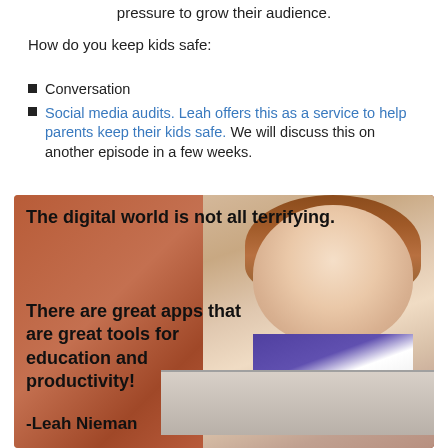pressure to grow their audience.
How do you keep kids safe:
Conversation
Social media audits. Leah offers this as a service to help parents keep their kids safe. We will discuss this on another episode in a few weeks.
[Figure (photo): Motivational image with a girl using a laptop against a brick wall background, with text quote: 'The digital world is not all terrifying. There are great apps that are great tools for education and productivity! -Leah Nieman']